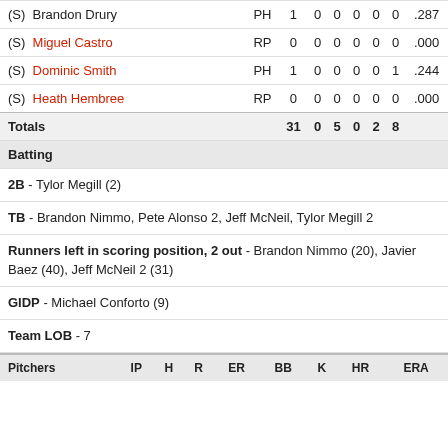| Player | Pos | AB | R | H | RBI | BB | K | AVG |
| --- | --- | --- | --- | --- | --- | --- | --- | --- |
| (S) Brandon Drury | PH | 1 | 0 | 0 | 0 | 0 | 0 | .287 |
| (S) Miguel Castro | RP | 0 | 0 | 0 | 0 | 0 | 0 | .000 |
| (S) Dominic Smith | PH | 1 | 0 | 0 | 0 | 0 | 1 | .244 |
| (S) Heath Hembree | RP | 0 | 0 | 0 | 0 | 0 | 0 | .000 |
| Totals |  | 31 | 0 | 5 | 0 | 2 | 8 |  |
Batting
2B - Tylor Megill (2)
TB - Brandon Nimmo, Pete Alonso 2, Jeff McNeil, Tylor Megill 2
Runners left in scoring position, 2 out - Brandon Nimmo (20), Javier Baez (40), Jeff McNeil 2 (31)
GIDP - Michael Conforto (9)
Team LOB - 7
| Pitchers | IP | H | R | ER | BB | K | HR | ERA |
| --- | --- | --- | --- | --- | --- | --- | --- | --- |